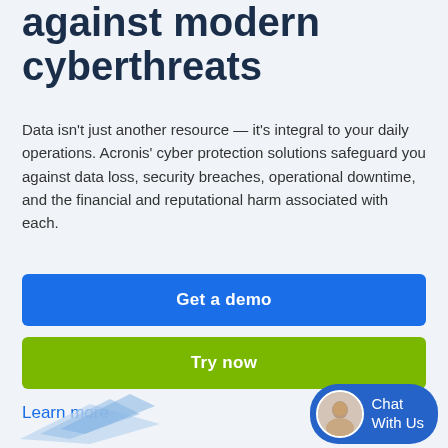against modern cyberthreats
Data isn't just another resource — it's integral to your daily operations. Acronis' cyber protection solutions safeguard you against data loss, security breaches, operational downtime, and the financial and reputational harm associated with each.
Get a demo
Try now
Learn more
[Figure (illustration): Chat With Us widget with female avatar and blue pill-shaped button, and partial blue isometric illustration at bottom]